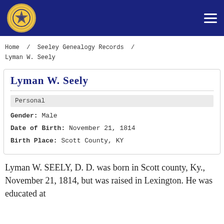Kentucky Genealogy Records – Navigation header with logo and menu icon
Home / Seeley Genealogy Records / Lyman W. Seely
Lyman W. Seely
Personal
Gender: Male
Date of Birth: November 21, 1814
Birth Place: Scott County, KY
Lyman W. SEELY, D. D. was born in Scott county, Ky., November 21, 1814, but was raised in Lexington. He was educated at